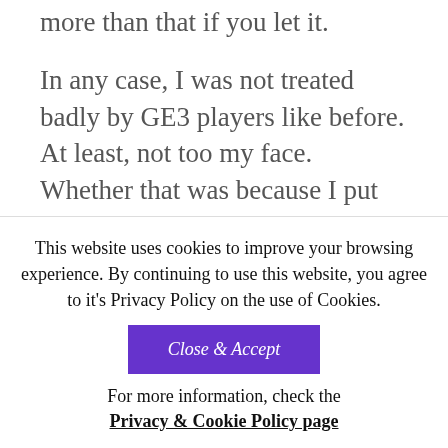more than that if you let it.
In any case, I was not treated badly by GE3 players like before. At least, not too my face. Whether that was because I put up walls in dealing with people or I just expected worse, I am unsure. But most importantly, I was able to regain some self-confidence and meaning in what I do online through GE3. This all culminated in the God Eater 3 Community JG video. The
This website uses cookies to improve your browsing experience. By continuing to use this website, you agree to it's Privacy Policy on the use of Cookies.
Close & Accept
For more information, check the
Privacy & Cookie Policy page